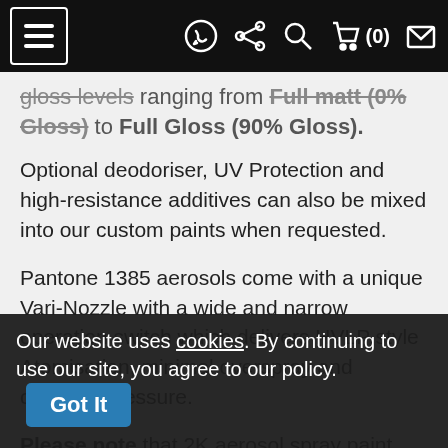Navigation bar with hamburger menu, WhatsApp, share, search, cart (0), and envelope icons
gloss levels ranging from Full matt (0% Gloss) to Full Gloss (90% Gloss).
Optional deodoriser, UV Protection and high-resistance additives can also be mixed into our custom paints when requested.
Pantone 1385 aerosols come with a unique Vari-Nozzle with a wide and narrow operation switch which delivers HVLP style Atomisation, minimal overspray and constant pressure.
Please note that 2K aerosol spray paint cans are only available as Acrylic Enamel...
1K ...
Our website uses cookies. By continuing to use our site, you agree to our policy.